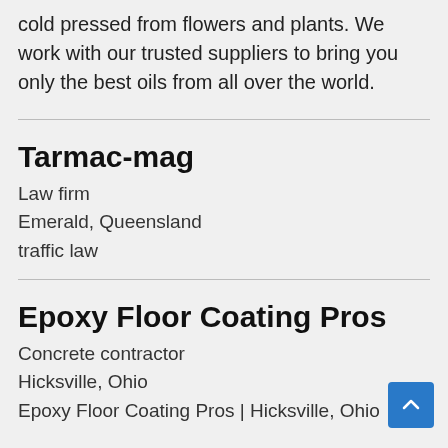cold pressed from flowers and plants. We work with our trusted suppliers to bring you only the best oils from all over the world.
Tarmac-mag
Law firm
Emerald, Queensland
traffic law
Epoxy Floor Coating Pros
Concrete contractor
Hicksville, Ohio
Epoxy Floor Coating Pros | Hicksville, Ohio